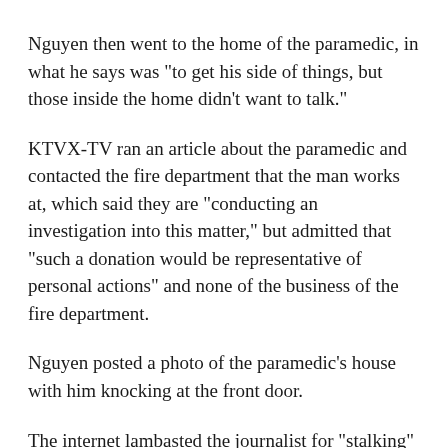Nguyen then went to the home of the paramedic, in what he says was "to get his side of things, but those inside the home didn't want to talk."
KTVX-TV ran an article about the paramedic and contacted the fire department that the man works at, which said they are "conducting an investigation into this matter," but admitted that "such a donation would be representative of personal actions" and none of the business of the fire department.
Nguyen posted a photo of the paramedic's house with him knocking at the front door.
The internet lambasted the journalist for "stalking" a private citizen, and some commentators claimed that Nguyen was attempting to doxx the paramedic. At the time of publication, there were over 7,200 comments on